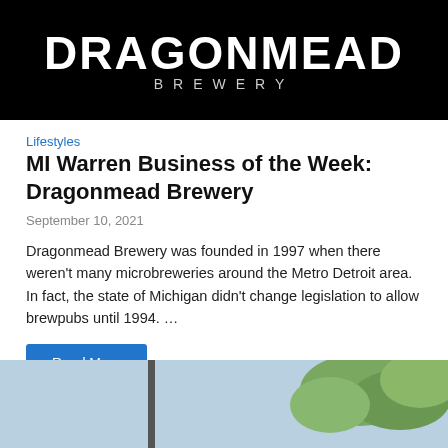[Figure (logo): Dragonmead Brewery logo — white text on black background]
Lifestyles
MI Warren Business of the Week: Dragonmead Brewery
September 10, 2021
Dragonmead Brewery was founded in 1997 when there weren't many microbreweries around the Metro Detroit area. In fact, the state of Michigan didn't change legislation to allow brewpubs until 1994. …
Read More
[Figure (photo): Outdoor photo showing a pole/sign against a blue sky with trees in the background]